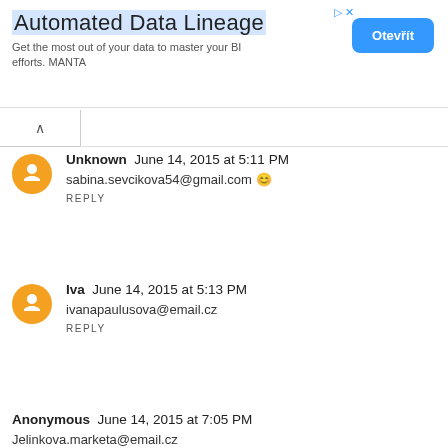[Figure (other): Advertisement banner for Automated Data Lineage by MANTA with a blue 'Otevrit' button]
Unknown June 14, 2015 at 5:11 PM
sabina.sevcikova54@gmail.com 😊
REPLY
Iva June 14, 2015 at 5:13 PM
ivanapaulusova@email.cz
REPLY
Anonymous June 14, 2015 at 7:05 PM
Jelinkova.marketa@email.cz
REPLY